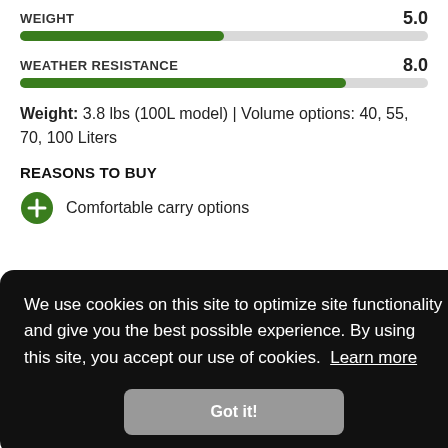[Figure (bar-chart): WEIGHT]
[Figure (bar-chart): WEATHER RESISTANCE]
Weight: 3.8 lbs (100L model) | Volume options: 40, 55, 70, 100 Liters
REASONS TO BUY
Comfortable carry options
We use cookies on this site to optimize site functionality and give you the best possible experience. By using this site, you accept our use of cookies. Learn more
Softer material doesn't hold its shape